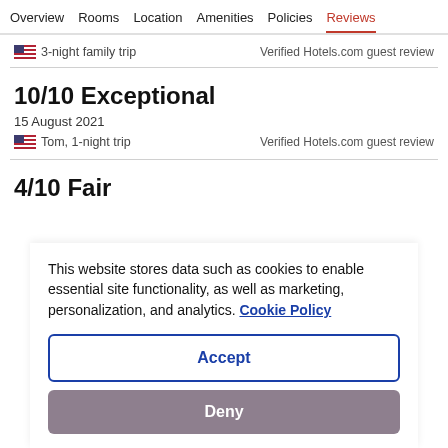Overview  Rooms  Location  Amenities  Policies  Reviews
3-night family trip   Verified Hotels.com guest review
10/10 Exceptional
15 August 2021
Tom, 1-night trip   Verified Hotels.com guest review
4/10 Fair
This website stores data such as cookies to enable essential site functionality, as well as marketing, personalization, and analytics. Cookie Policy
Accept
Deny